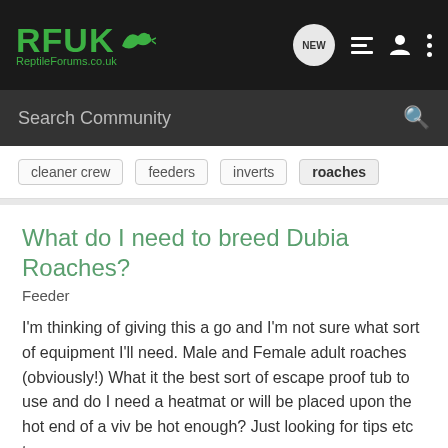RFUK Reptile Forums.co.uk — navigation bar
Search Community
cleaner crew
feeders
inverts
roaches
What do I need to breed Dubia Roaches?
Feeder
I'm thinking of giving this a go and I'm not sure what sort of equipment I'll need. Male and Female adult roaches (obviously!) What it the best sort of escape proof tub to use and do I need a heatmat or will be placed upon the hot end of a viv be hot enough? Just looking for tips etc to...
5 replies · 709 views
supatips · Mar 22, 2016
breeding
dubia
roaches